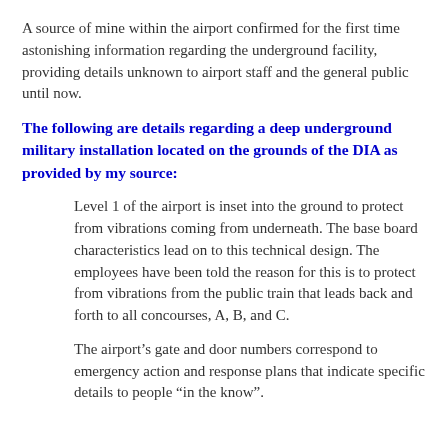A source of mine within the airport confirmed for the first time astonishing information regarding the underground facility, providing details unknown to airport staff and the general public until now.
The following are details regarding a deep underground military installation located on the grounds of the DIA as provided by my source:
Level 1 of the airport is inset into the ground to protect from vibrations coming from underneath. The base board characteristics lead on to this technical design. The employees have been told the reason for this is to protect from vibrations from the public train that leads back and forth to all concourses, A, B, and C.
The airport’s gate and door numbers correspond to emergency action and response plans that indicate specific details to people “in the know”.